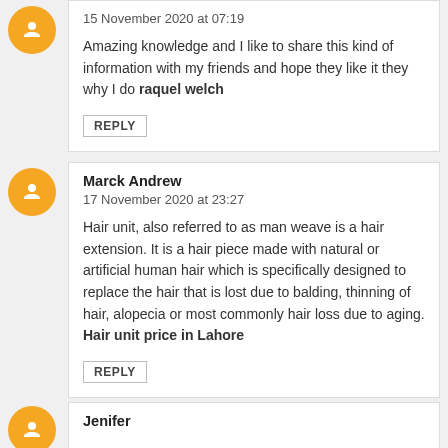15 November 2020 at 07:19
Amazing knowledge and I like to share this kind of information with my friends and hope they like it they why I do raquel welch
REPLY
Marck Andrew
17 November 2020 at 23:27
Hair unit, also referred to as man weave is a hair extension. It is a hair piece made with natural or artificial human hair which is specifically designed to replace the hair that is lost due to balding, thinning of hair, alopecia or most commonly hair loss due to aging. Hair unit price in Lahore
REPLY
Jenifer